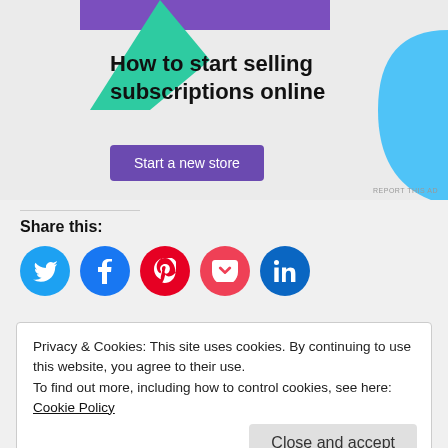[Figure (illustration): Advertisement banner for selling subscriptions online with geometric shapes (purple, green triangle, blue), headline text, and a purple 'Start a new store' button. REPORT THIS AD text at bottom right.]
Share this:
[Figure (infographic): Row of 5 circular social share buttons: Twitter (light blue), Facebook (dark blue), Pinterest (red), Pocket (red), LinkedIn (dark teal/blue)]
Privacy & Cookies: This site uses cookies. By continuing to use this website, you agree to their use.
To find out more, including how to control cookies, see here: Cookie Policy
Close and accept